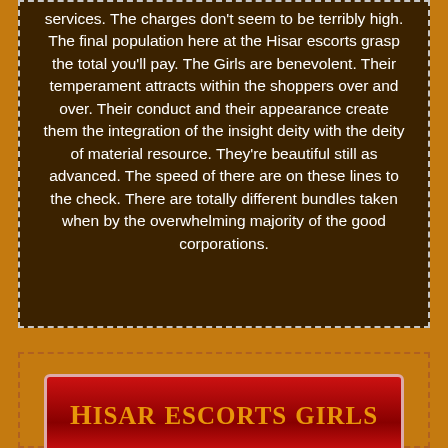services. The charges don't seem to be terribly high. The final population here at the Hisar escorts grasp the total you'll pay. The Girls are benevolent. Their temperament attracts within the shoppers over and over. Their conduct and their appearance create them the integration of the insight deity with the deity of material resource. They're beautiful still as advanced. The speed of there are on these lines to the check. There are totally different bundles taken when by the overwhelming majority of the good corporations.
Hisar escorts girls